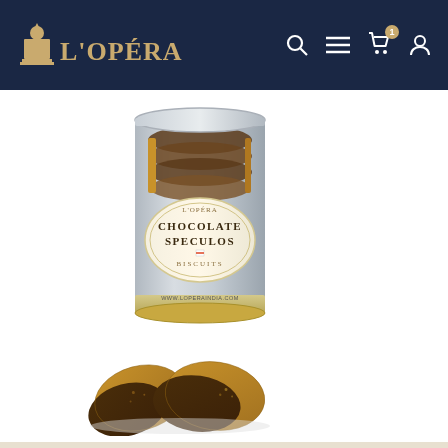L'OPÉRA — navigation header with search, menu, cart (1 item), and user icons
[Figure (photo): A clear cylindrical tin canister containing Chocolate Speculos biscuits by L'Opéra, with a cream label reading 'L'OPÉRA CHOCOLATE SPECULOS BISCUITS www.loperaindia.com'. Below the tin are two chocolate-dipped speculoos cookies on a white background.]